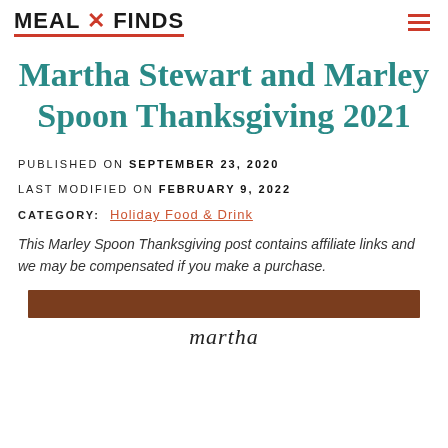MEAL X FINDS
Martha Stewart and Marley Spoon Thanksgiving 2021
PUBLISHED ON SEPTEMBER 23, 2020
LAST MODIFIED ON FEBRUARY 9, 2022
CATEGORY: Holiday Food & Drink
This Marley Spoon Thanksgiving post contains affiliate links and we may be compensated if you make a purchase.
[Figure (photo): Brown banner image with 'martha' text partially visible at bottom]